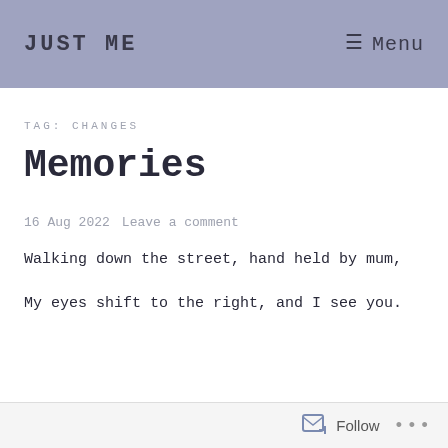JUST ME   Menu
TAG: CHANGES
Memories
16 Aug 2022   Leave a comment
Walking down the street, hand held by mum,
My eyes shift to the right, and I see you.
Follow ...